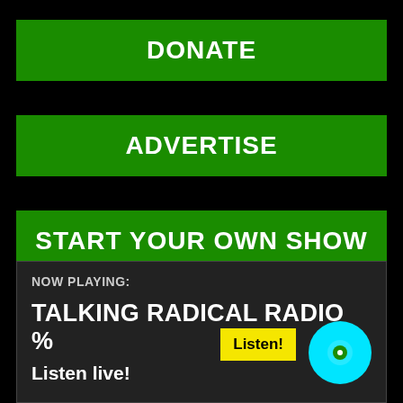DONATE
ADVERTISE
START YOUR OWN SHOW
NOW PLAYING:
TALKING RADICAL RADIO %
Listen!
Listen live!